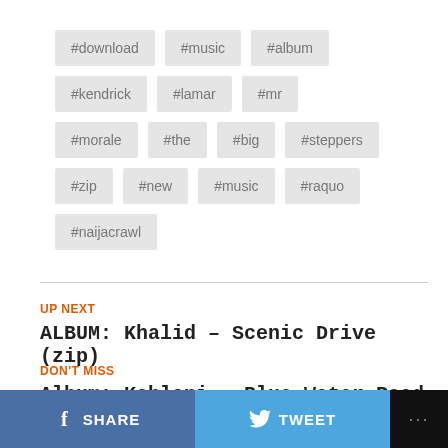#download
#music
#album
#kendrick
#lamar
#mr
#morale
#the
#big
#steppers
#zip
#new
#music
#raquo
#naijacrawl
UP NEXT
ALBUM: Khalid – Scenic Drive (zip)
DON'T MISS
Album: Kehlani – Blue Water Road (zip)
SHARE   TWEET   ...